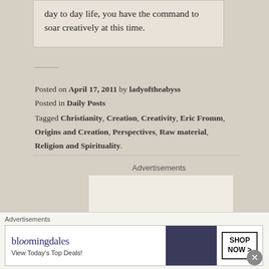you have the courage to look beyond the comfort of your day to day life, you have the command to soar creatively at this time.
Posted on April 17, 2011 by ladyoftheabyss
Posted in Daily Posts
Tagged Christianity, Creation, Creativity, Eric Fromm, Origins and Creation, Perspectives, Raw material, Religion and Spirituality.
Advertisements
[Figure (other): Advertisement box showing 'Business in' text]
Advertisements
[Figure (other): Bloomingdales advertisement banner: View Today's Top Deals! SHOP NOW >]